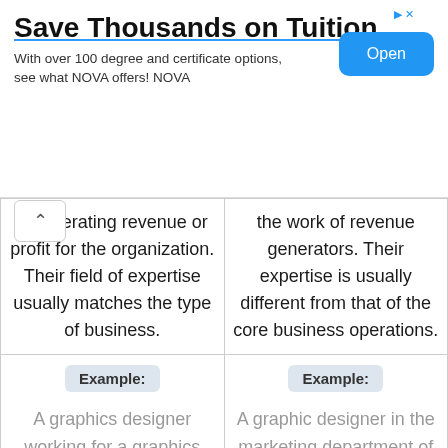[Figure (other): Advertisement banner: Save Thousands on Tuition - With over 100 degree and certificate options, see what NOVA offers! NOVA - Open button]
| ...generating revenue or profit for the organization. Their field of expertise usually matches the type of business. | the work of revenue generators. Their expertise is usually different from that of the core business operations. |
| Example: A graphics designer working for a graphics designing company. | Example: A graphic designer in the marketing department of a hospital. |